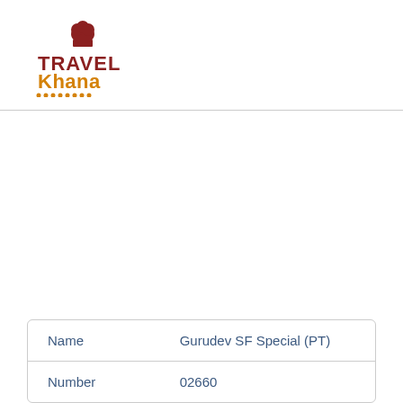[Figure (logo): TravelKhana logo with chef hat icon, TRAVEL in dark red/maroon, Khana in orange, with decorative dots below]
| Name | Gurudev SF Special (PT) |
| Number | 02660 |